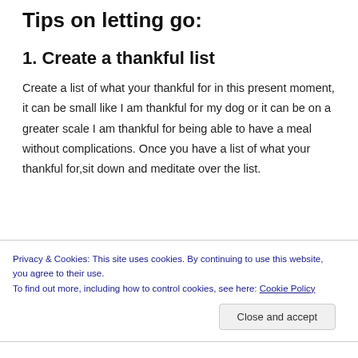Tips on letting go:
1. Create a thankful list
Create a list of what your thankful for in this present moment, it can be small like I am thankful for my dog or it can be on a greater scale I am thankful for being able to have a meal without complications. Once you have a list of what your thankful for,sit down and meditate over the list.
Privacy & Cookies: This site uses cookies. By continuing to use this website, you agree to their use.
To find out more, including how to control cookies, see here: Cookie Policy